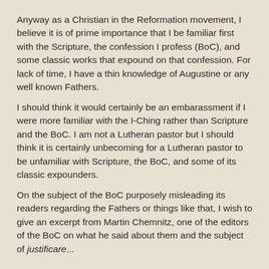Anyway as a Christian in the Reformation movement, I believe it is of prime importance that I be familiar first with the Scripture, the confession I profess (BoC), and some classic works that expound on that confession. For lack of time, I have a thin knowledge of Augustine or any well known Fathers.
I should think it would certainly be an embarassment if I were more familiar with the I-Ching rather than Scripture and the BoC. I am not a Lutheran pastor but I should think it is certainly unbecoming for a Lutheran pastor to be unfamiliar with Scripture, the BoC, and some of its classic expounders.
On the subject of the BoC purposely misleading its readers regarding the Fathers or things like that, I wish to give an excerpt from Martin Chemnitz, one of the editors of the BoC on what he said about them and the subject of justificare...